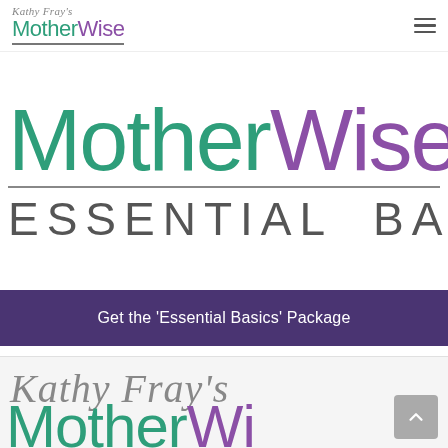Kathy Fray's MotherWise — navigation bar with hamburger menu
[Figure (logo): MotherWise Essential Basics logo: large 'MotherWise' in teal and purple with 'ESSENTIAL BASICS' beneath a horizontal rule]
Get the 'Essential Basics' Package
[Figure (logo): Kathy Fray's MotherWise logo repeated at bottom of page, partially cropped, with script 'Kathy Fray's' above 'MotherWise' in teal and purple]